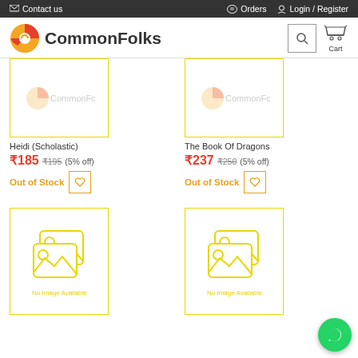Contact us   Orders   Login / Register
[Figure (logo): CommonFolks logo with orange/yellow circular icon and bold text 'CommonFolks']
Heidi (Scholastic)
₹185  ₹195  (5% off)
Out of Stock
The Book Of Dragons
₹237  ₹250  (5% off)
Out of Stock
[Figure (illustration): No Image Available placeholder with yellow outline image icon]
[Figure (illustration): No Image Available placeholder with yellow outline image icon]